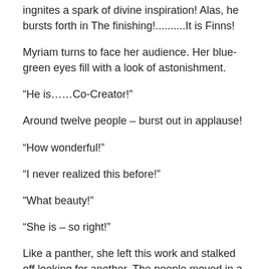ingnites a spark of divine inspiration! Alas, he bursts forth in The finishing!..........It is Finns!
Myriam turns to face her audience. Her blue-green eyes fill with a look of astonishment.
“He is……Co-Creator!”
Around twelve people – burst out in applause!
“How wonderful!”
“I never realized this before!”
“What beauty!”
“She is – so right!”
Like a panther, she left this work and stalked off looking for another. The people moved in a fill the void. They soaked